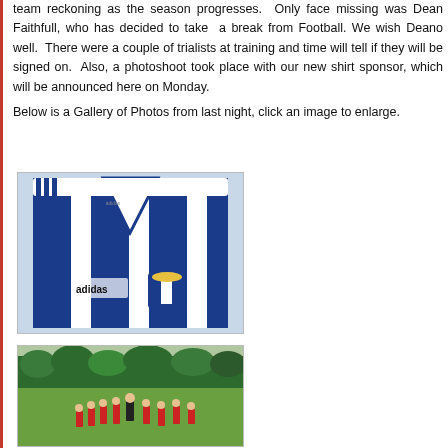team reckoning as the season progresses.  Only face missing was Dean Faithfull, who has decided to take a break from Football. We wish Deano well.  There were a couple of trialists at training and time will tell if they will be signed on.  Also, a photoshoot took place with our new shirt sponsor, which will be announced here on Monday.
Below is a Gallery of Photos from last night, click an image to enlarge.
[Figure (photo): Close-up photo of a blue and white striped Adidas football jersey with a club crest badge visible on the chest]
[Figure (photo): Outdoor football training session with players in red training kits gathered around a coach on a grass pitch with trees in background]